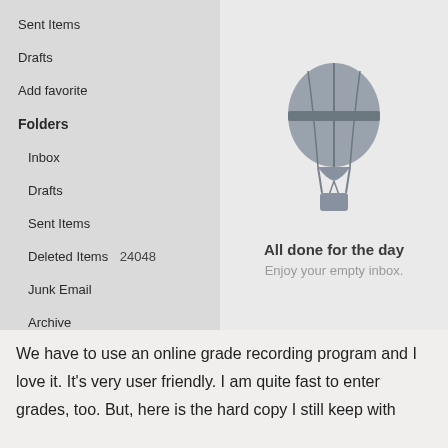[Figure (screenshot): Screenshot of an email client (likely Outlook) showing a left sidebar with folder list (Sent Items, Drafts, Add favorite, Folders heading, Inbox, Drafts, Sent Items, Deleted Items 24048, Junk Email, Archive) and on the right side an empty inbox message with a hot air balloon icon and text 'All done for the day' and 'Enjoy your empty inbox.']
We have to use an online grade recording program and I love it. It's very user friendly. I am quite fast to enter grades, too. But, here is the hard copy I still keep with